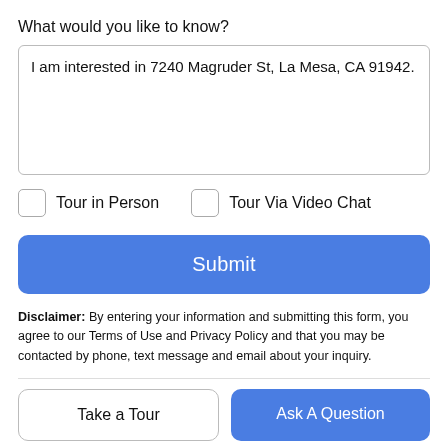What would you like to know?
I am interested in 7240 Magruder St, La Mesa, CA 91942.
Tour in Person
Tour Via Video Chat
Submit
Disclaimer: By entering your information and submitting this form, you agree to our Terms of Use and Privacy Policy and that you may be contacted by phone, text message and email about your inquiry.
Take a Tour
Ask A Question